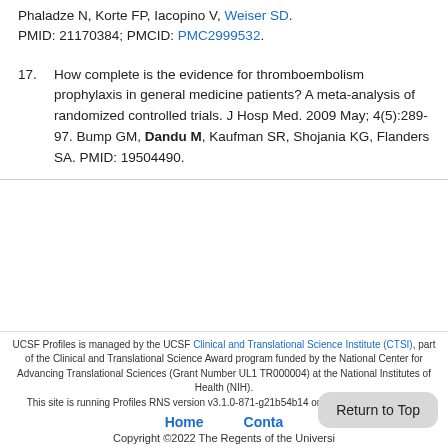Phaladze N, Korte FP, Iacopino V, Weiser SD. PMID: 21170384; PMCID: PMC2999532.
17. How complete is the evidence for thromboembolism prophylaxis in general medicine patients? A meta-analysis of randomized controlled trials. J Hosp Med. 2009 May; 4(5):289-97. Bump GM, Dandu M, Kaufman SR, Shojania KG, Flanders SA. PMID: 19504490.
UCSF Profiles is managed by the UCSF Clinical and Translational Science Institute (CTSI), part of the Clinical and Translational Science Award program funded by the National Center for Advancing Translational Sciences (Grant Number UL1 TR000004) at the National Institutes of Health (NIH). This site is running Profiles RNS version v3.1.0-871-g21b54b14 on PROFILES-PWEB02. Home | Contact | Copyright ©2022 The Regents of the University